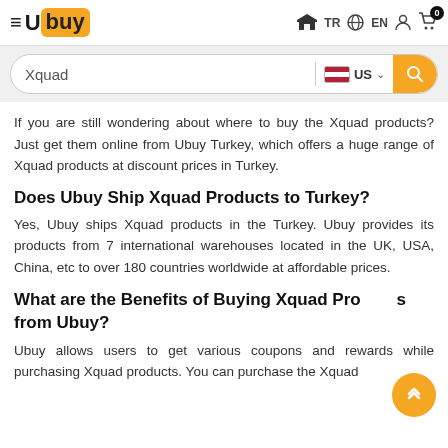Ubuy — TR EN (cart: 0) — Search: Xquad US
If you are still wondering about where to buy the Xquad products? Just get them online from Ubuy Turkey, which offers a huge range of Xquad products at discount prices in Turkey.
Does Ubuy Ship Xquad Products to Turkey?
Yes, Ubuy ships Xquad products in the Turkey. Ubuy provides its products from 7 international warehouses located in the UK, USA, China, etc to over 180 countries worldwide at affordable prices.
What are the Benefits of Buying Xquad Products from Ubuy?
Ubuy allows users to get various coupons and rewards while purchasing Xquad products. You can purchase the Xquad